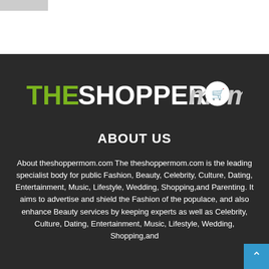[Figure (photo): Partial photo thumbnails visible at top left of page]
[Figure (logo): The Shopper Mom logo with green THE, white SHOPPER, grey italic mom with shopping cart icon]
ABOUT US
About theshoppermom.com The theshoppermom.com is the leading specialist body for public Fashion, Beauty, Celebrity, Culture, Dating, Entertainment, Music, Lifestyle, Wedding, Shopping,and Parenting. It aims to advertise and shield the Fashion of the populace, and also enhance Beauty services by keeping experts as well as Celebrity, Culture, Dating, Entertainment, Music, Lifestyle, Wedding, Shopping,and